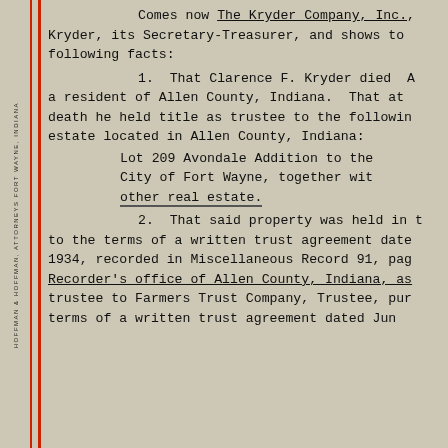HOFFMAN & HOFFMAN, ATTORNEYS FORT WAYNE, INDIANA
Comes now The Kryder Company, Inc., Kryder, its Secretary-Treasurer, and shows to following facts:

1. That Clarence F. Kryder died A a resident of Allen County, Indiana. That at death he held title as trustee to the followin estate located in Allen County, Indiana:

Lot 209 Avondale Addition to the City of Fort Wayne, together wit other real estate.

2. That said property was held in t to the terms of a written trust agreement date 1934, recorded in Miscellaneous Record 91, pag Recorder's office of Allen County, Indiana, as trustee to Farmers Trust Company, Trustee, pur terms of a written trust agreement dated Jun